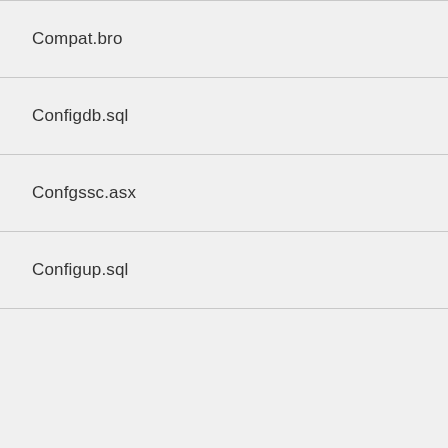Compat.bro
Configdb.sql
Confgssc.asx
Configup.sql